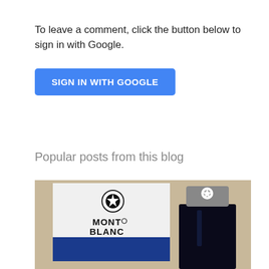To leave a comment, click the button below to sign in with Google.
[Figure (other): Blue rounded button with white uppercase text: SIGN IN WITH GOOGLE]
Popular posts from this blog
[Figure (photo): Photo of a Montblanc ink bottle box (white top with Montblanc star logo, blue bottom) next to a dark blue/black ink bottle with white star cap, on a beige/tan surface.]